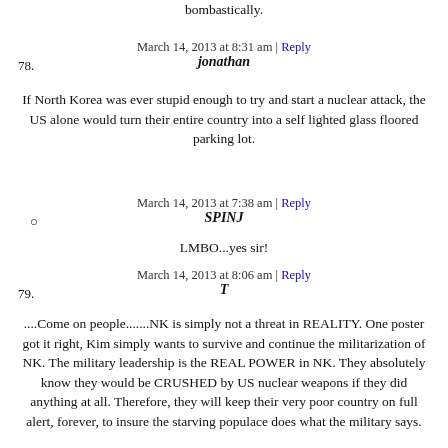bombastically.
March 14, 2013 at 8:31 am | Reply
78.
jonathan
If North Korea was ever stupid enough to try and start a nuclear attack, the US alone would turn their entire country into a self lighted glass floored parking lot.
March 14, 2013 at 7:38 am | Reply
SPINJ
LMBO...yes sir!
March 14, 2013 at 8:06 am | Reply
79.
T
....Come on people.......NK is simply not a threat in REALITY. One poster got it right, Kim simply wants to survive and continue the militarization of NK. The military leadership is the REAL POWER in NK. They absolutely know they would be CRUSHED by US nuclear weapons if they did anything at all. Therefore, they will keep their very poor country on full alert, forever, to insure the starving populace does what the military says.